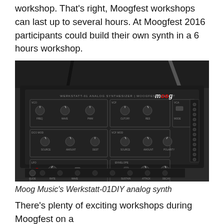workshop. That's right, Moogfest workshops can last up to several hours. At Moogfest 2016 participants could build their own synth in a 6 hours workshop.
[Figure (photo): Photo of a Moog Music Werkstatt-01 DIY analog synthesizer, a black rectangular device with multiple knobs, switches and patch points on its panel, with cables plugged in at the top, photographed on a dark surface.]
Moog Music's Werkstatt-01DIY analog synth
There's plenty of exciting workshops during Moogfest on a